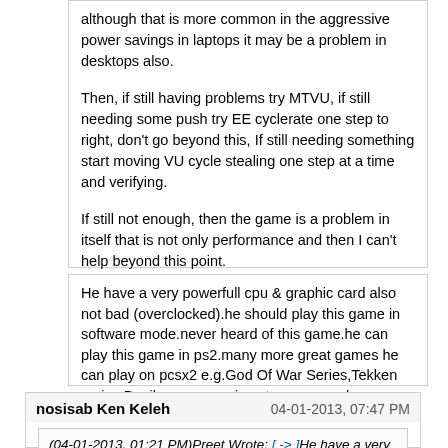although that is more common in the aggressive power savings in laptops it may be a problem in desktops also.

Then, if still having problems try MTVU, if still needing some push try EE cyclerate one step to right, don't go beyond this, If still needing something start moving VU cycle stealing one step at a time and verifying.

If still not enough, then the game is a problem in itself that is not only performance and then I can't help beyond this point.
He have a very powerfull cpu & graphic card also not bad (overclocked).he should play this game in software mode.never heard of this game.he can play this game in ps2.many more great games he can play on pcsx2 e.g.God Of War Series,Tekken series,Devil may cry series etc.anyway u know better than me.thanks 4 the info [Laugh]
nosisab Ken Keleh
04-01-2013, 07:47 PM
(04-01-2013, 01:21 PM)Preet Wrote: [-> ]He have a very powerfull cpu & graphic card also not bad (overclocked).he should play this game in software mode.never heard of this game.he can play this game in ps2.many more great games he can play on pcsx2 e.g.God Of War Series,Tekken series,Devil may cry series etc.anyway u know better than me.thanks 4 the